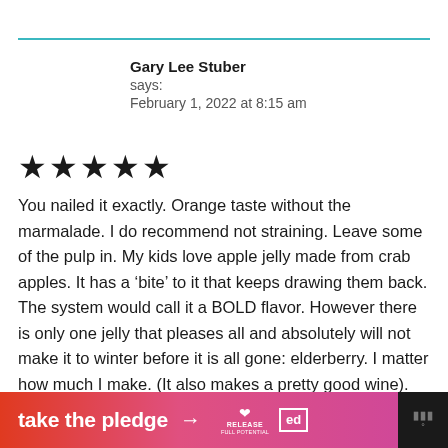Gary Lee Stuber
says:
February 1, 2022 at 8:15 am
[Figure (other): Five black star rating icons]
You nailed it exactly. Orange taste without the marmalade. I do recommend not straining. Leave some of the pulp in. My kids love apple jelly made from crab apples. It has a ‘bite’ to it that keeps drawing them back. The system would call it a BOLD flavor. However there is only one jelly that pleases all and absolutely will not make it to winter before it is all gone: elderberry. I matter how much I make. (It also makes a pretty good wine).
take the pledge →